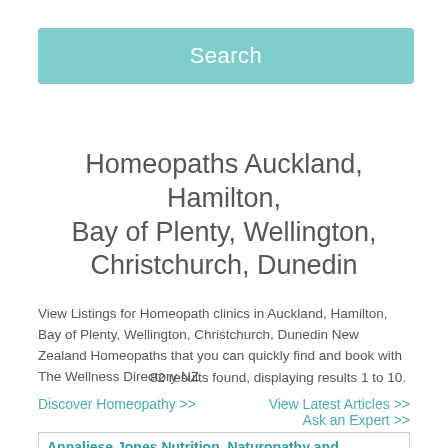[Figure (screenshot): Teal/turquoise search bar button with white text 'Search']
Homeopaths Auckland, Hamilton, Bay of Plenty, Wellington, Christchurch, Dunedin
View Listings for Homeopath clinics in Auckland, Hamilton, Bay of Plenty, Wellington, Christchurch, Dunedin New Zealand Homeopaths that you can quickly find and book with The Wellness Directory NZ
82 results found, displaying results 1 to 10.
Discover Homeopathy >>
View Latest Articles >>
Ask an Expert >>
Annaliese Jones Nutrition, Naturopathy and